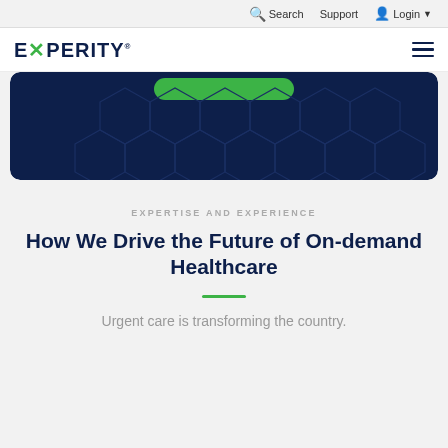Search  Support  Login
[Figure (logo): Experity logo with green X and dark navy text]
[Figure (illustration): Dark navy hero banner with hexagonal geometric pattern and a green button stub at top]
EXPERTISE AND EXPERIENCE
How We Drive the Future of On-demand Healthcare
Urgent care is transforming the country.